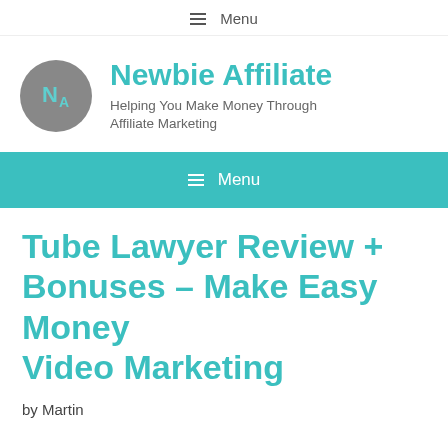≡ Menu
[Figure (logo): Newbie Affiliate logo: grey circle with teal 'N A' letters, beside bold teal 'Newbie Affiliate' site name and tagline 'Helping You Make Money Through Affiliate Marketing']
≡ Menu
Tube Lawyer Review + Bonuses – Make Easy Money Video Marketing
by Martin